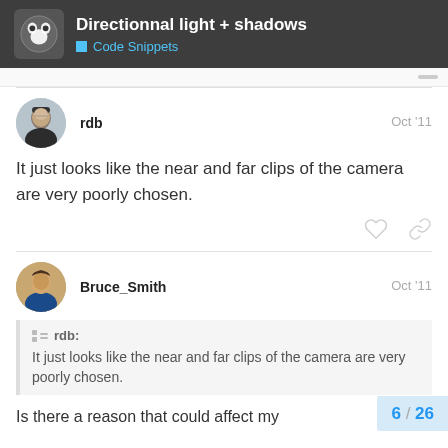Directionnal light + shadows | Code Snippets
rdb — Oct '11
It just looks like the near and far clips of the camera are very poorly chosen.
Bruce_Smith — Oct '11
rdb: It just looks like the near and far clips of the camera are very poorly chosen.
Is there a reason that could affect my
6 / 26